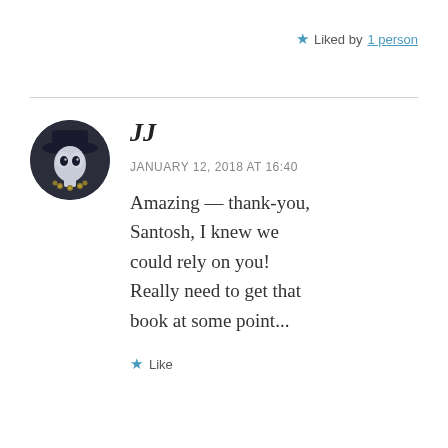★ Liked by 1 person
[Figure (illustration): Circular avatar showing a masked character in dark hat and costume]
JJ
JANUARY 12, 2018 AT 16:40
Amazing — thank-you, Santosh, I knew we could rely on you! Really need to get that book at some point...
★ Like